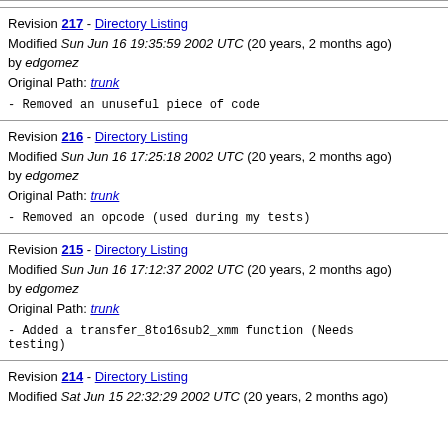Revision 217 - Directory Listing
Modified Sun Jun 16 19:35:59 2002 UTC (20 years, 2 months ago)
by edgomez
Original Path: trunk
- Removed an unuseful piece of code
Revision 216 - Directory Listing
Modified Sun Jun 16 17:25:18 2002 UTC (20 years, 2 months ago)
by edgomez
Original Path: trunk
- Removed an opcode (used during my tests)
Revision 215 - Directory Listing
Modified Sun Jun 16 17:12:37 2002 UTC (20 years, 2 months ago)
by edgomez
Original Path: trunk
- Added a transfer_8to16sub2_xmm function (Needs testing)
Revision 214 - Directory Listing
Modified Sat Jun 15 22:32:29 2002 UTC (20 years, 2 months ago)